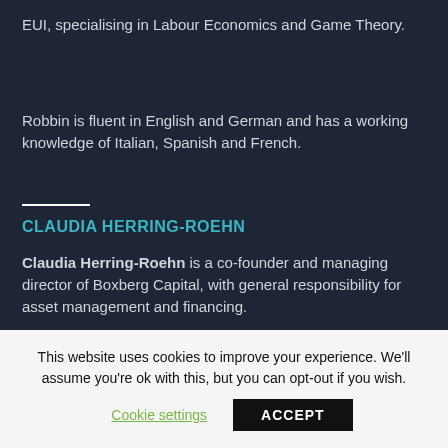EUI, specialising in Labour Economics and Game Theory.
Robbin is fluent in English and German and has a working knowledge of Italian, Spanish and French.
CLAUDIA HERRING-ROEHN
Claudia Herring-Roehn is a co-founder and managing director of Boxberg Capital, with general responsibility for asset management and financing.
This website uses cookies to improve your experience. We'll assume you're ok with this, but you can opt-out if you wish.
Cookie settings  ACCEPT